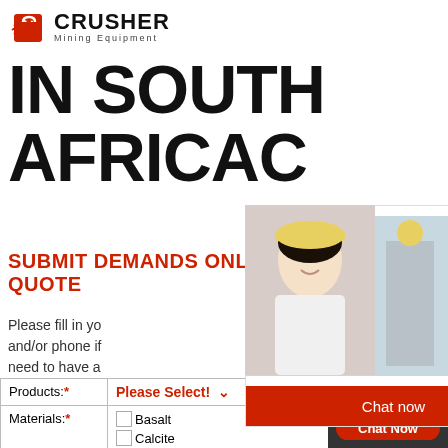[Figure (logo): Crusher Mining Equipment logo with red shopping bag icon and bold CRUSHER text]
IN SOUTH AFRICAC
SUBMIT DEMANDS ONLINE AN QUOTE
[Figure (photo): Live chat overlay with construction workers in yellow hard hats and customer service representative with headset]
Please fill in yo and/or phone if need to have a
| Products:* | Please Select! |
| --- | --- |
| Materials:* | Basalt, Barite, Bento, Calcite, Coal, Copp, Dolomite, Feldspar, Gravel, Granite, Qua, Pebble, Slag, Limest |